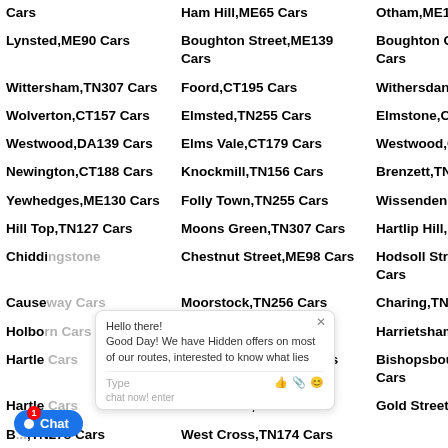Cars
Ham Hill,ME65 Cars
Otham,ME158 Cars
Lynsted,ME90 Cars
Boughton Street,ME139 Cars
Boughton Corner,TN255 Cars
Wittersham,TN307 Cars
Foord,CT195 Cars
Withersdane,TN255 Cars
Wolverton,CT157 Cars
Elmsted,TN255 Cars
Elmstone,CT31 Cars
Westwood,DA139 Cars
Elms Vale,CT179 Cars
Westwood,CT102 Cars
Newington,CT188 Cars
Knockmill,TN156 Cars
Brenzett,TN299 Cars
Yewhedges,ME130 Cars
Folly Town,TN255 Cars
Wissenden,TN263 Cars
Hill Top,TN127 Cars
Moons Green,TN307 Cars
Hartlip Hill,ME97 Cars
Chiddingstone
Chestnut Street,ME98 Cars
Hodsoll Street,TN157 Cars
Causeway Cars
Moorstock,TN256 Cars
Charing,TN270 Cars
Holborn Cars
Harrietsham,ME171 Cars
Hartle Cars
Hawkenbury,TN120 Cars
Bishopsbourne,CT45 Cars
Hartle Cars
Iden Green,TN174 Cars
Gold Street,DA123 Cars
B...,TN278 Cars
West Cross,TN174 Cars
Broom Hill,ME158 Cars
Hoodhill,ME194 Cars
Horn,TN17 Cars